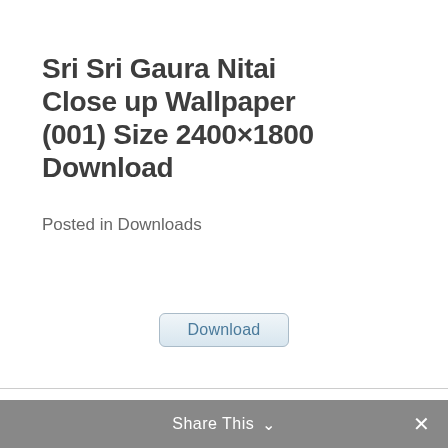Sri Sri Gaura Nitai Close up Wallpaper (001) Size 2400×1800 Download
Posted in Downloads
[Figure (other): Download button with light blue rounded rectangle style]
Powered by www.iskcondesiretree.net
Share This ∨  ✕